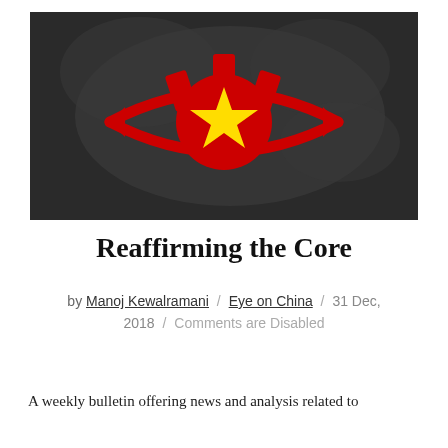[Figure (illustration): Logo/illustration of an eye shape in red outline, with a red circle containing a yellow star in the center (resembling Chinese flag), with red bracket shapes above the eye like eyelashes or bolts, all set against a dark charcoal background with a faint grey silhouette of a map of China.]
Reaffirming the Core
by Manoj Kewalramani / Eye on China / 31 Dec, 2018 / Comments are Disabled
A weekly bulletin offering news and analysis related to